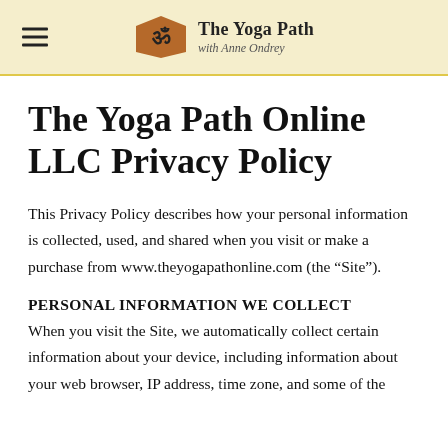The Yoga Path with Anne Ondrey
The Yoga Path Online LLC Privacy Policy
This Privacy Policy describes how your personal information is collected, used, and shared when you visit or make a purchase from www.theyogapathonline.com (the “Site”).
PERSONAL INFORMATION WE COLLECT
When you visit the Site, we automatically collect certain information about your device, including information about your web browser, IP address, time zone, and some of the